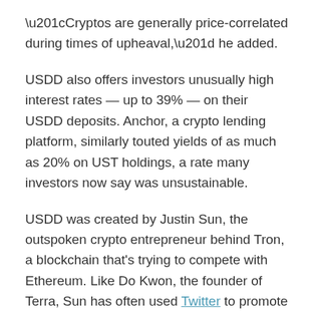“Cryptos are generally price-correlated during times of upheaval,” he added.
USDD also offers investors unusually high interest rates — up to 39% — on their USDD deposits. Anchor, a crypto lending platform, similarly touted yields of as much as 20% on UST holdings, a rate many investors now say was unsustainable.
USDD was created by Justin Sun, the outspoken crypto entrepreneur behind Tron, a blockchain that’s trying to compete with Ethereum. Like Do Kwon, the founder of Terra, Sun has often used Twitter to promote his projects — and challenge critics.
The Chinese-born businessman has been involved in numerous controversies and publicity stunts in the past. In